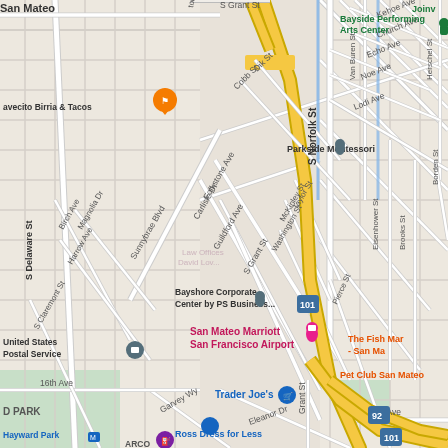[Figure (map): Google Maps street map of San Mateo, California area showing Highway 101 running diagonally, with landmarks including Bayside Performing Arts Center, Parkside Montessori, San Mateo Marriott San Francisco Airport, Bayshore Corporate Center by PS Business, United States Postal Service, Trader Joe's, Ross Dress for Less, Pet Club San Mateo, The Fish Mar - San Ma, Hayward Park transit station, ARCO gas station, and Law Offices of David Loy. Streets visible include S Delaware St, S Norfolk St, S Grant St, Carlisle Dr, Folkstone Ave, Guildford Ave, Sunnybrae Blvd, Birch Ave, Magnolia Dr, Harrow Ave, Kehoe Ave, Church Ave, Echo Ave, Noe Ave, Lodi Ave, Dik St, Cobb St, Taylor St, McKinley St, Washington St, Pierce St, Eisenhower St, Brooks St, Van Buren St, Herschel St, Borden St, 16th Ave, Garvey Wy, Eleanor Dr, 19th Ave, Grant St. Highway markers visible: 101 and 92.]